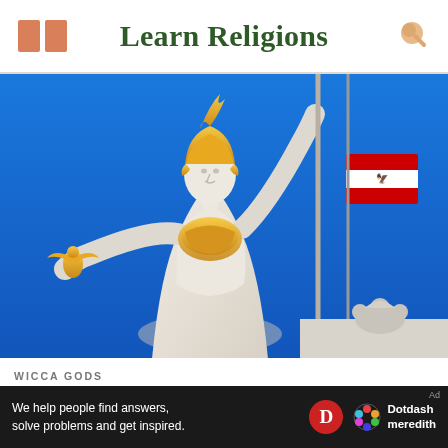Learn Religions
[Figure (photo): Photograph of the Athena statue (Pallas Athena) at the Austrian Parliament Building in Vienna. The large white marble statue shows Athena wearing a golden helmet and golden breastplate, holding a small golden winged figure (Nike) in her outstretched left hand and a spear in her raised right hand. A red-and-white Austrian flag flies on a pole behind her against a bright blue sky. Decorative sculptural elements are visible at the building's roofline.]
WICCA GODS
Athena, Greek Goddess of Wisdom and War
[Figure (infographic): Advertisement banner for Dotdash Meredith. Dark background with white text reading 'We help people find answers, solve problems and get inspired.' alongside a red circular D logo and the Dotdash meredith colorful hexagonal logo with brand name.]